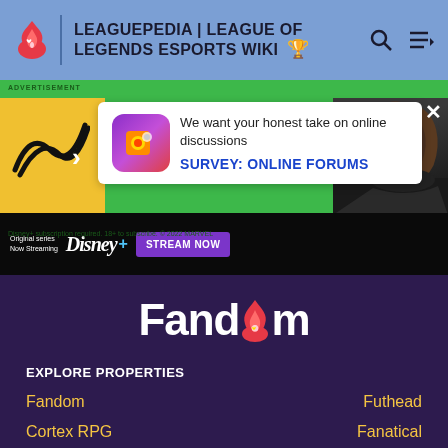LEAGUEPEDIA | LEAGUE OF LEGENDS ESPORTS WIKI
[Figure (screenshot): Advertisement banner: Survey about online forums with Disney+ streaming ad. Text: 'We want your honest take on online discussions' and 'SURVEY: ONLINE FORUMS'. Disney+ strip shows 'Original series Now Streaming Disney+ STREAM NOW'. Disclaimer: 'Disney+ subscription required. 18+ to subscribe. © 2022 MARVEL']
[Figure (logo): Fandom logo in white text on dark purple background with flame icon replacing the 'o']
EXPLORE PROPERTIES
Fandom
Futhead
Cortex RPG
Fanatical
Muthead